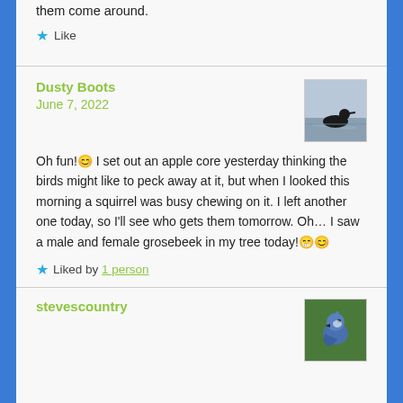them come around.
⭐ Like
Dusty Boots
June 7, 2022
[Figure (photo): Avatar image showing a bird (loon) swimming on water]
Oh fun!😊 I set out an apple core yesterday thinking the birds might like to peck away at it, but when I looked this morning a squirrel was busy chewing on it. I left another one today, so I'll see who gets them tomorrow. Oh… I saw a male and female grosebeek in my tree today!😁😊
⭐ Liked by 1 person
stevescountry
[Figure (photo): Avatar image showing a blue jay bird]